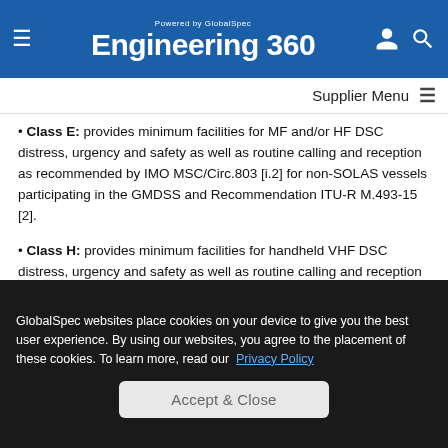Powered by GlobalSpec Engineering 360
Supplier Menu
Class E: provides minimum facilities for MF and/or HF DSC distress, urgency and safety as well as routine calling and reception as recommended by IMO MSC/Circ.803 [i.2] for non-SOLAS vessels participating in the GMDSS and Recommendation ITU-R M.493-15 [2].
Class H: provides minimum facilities for handheld VHF DSC distress, urgency and safety as well as routine calling and reception as recommended by IMO MSC/Circ.803 [i.2] for non-SOLAS vessels participating in the GMDSS and
GlobalSpec websites place cookies on your device to give you the best user experience. By using our websites, you agree to the placement of these cookies. To learn more, read our Privacy Policy
Accept & Close